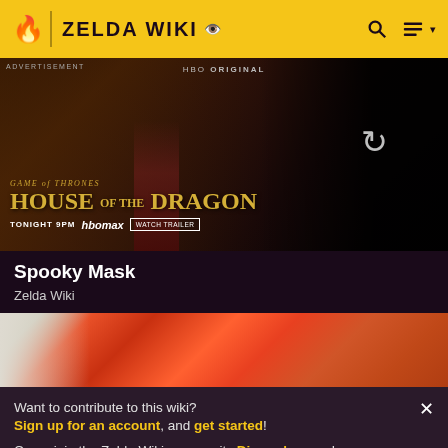ZELDA WIKI
[Figure (screenshot): HBO Original advertisement for House of the Dragon - Game of Thrones. Tonight 9PM | HBOmax | Watch Trailer. Dark fantasy background with character and dragon.]
ADVERTISEMENT
Spooky Mask
Zelda Wiki
[Figure (photo): Partial image of a red/orange mask or costume item from Zelda Wiki]
Want to contribute to this wiki? Sign up for an account, and get started! Come join the Zelda Wiki community Discord server!